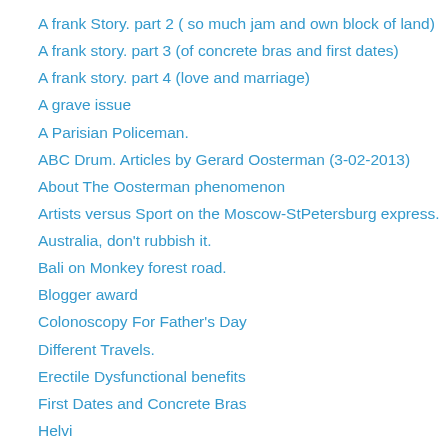A frank Story. part 2 ( so much jam and own block of land)
A frank story. part 3 (of concrete bras and first dates)
A frank story. part 4 (love and marriage)
A grave issue
A Parisian Policeman.
ABC Drum. Articles by Gerard Oosterman (3-02-2013)
About The Oosterman phenomenon
Artists versus Sport on the Moscow-StPetersburg express.
Australia, don't rubbish it.
Bali on Monkey forest road.
Blogger award
Colonoscopy For Father's Day
Different Travels.
Erectile Dysfunctional benefits
First Dates and Concrete Bras
Helvi
Home Alone.
http://www.abc.net.au/unleashed/3599232.html
Letting the bees do the work.
Next time you buy 'fashion' look at how and where it is made.